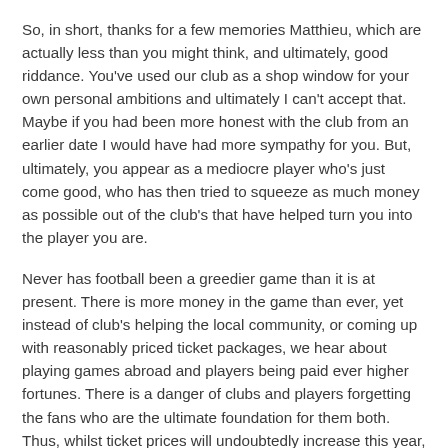So, in short, thanks for a few memories Matthieu, which are actually less than you might think, and ultimately, good riddance. You've used our club as a shop window for your own personal ambitions and ultimately I can't accept that. Maybe if you had been more honest with the club from an earlier date I would have had more sympathy for you. But, ultimately, you appear as a mediocre player who's just come good, who has then tried to squeeze as much money as possible out of the club's that have helped turn you into the player you are.
Never has football been a greedier game than it is at present. There is more money in the game than ever, yet instead of club's helping the local community, or coming up with reasonably priced ticket packages, we hear about playing games abroad and players being paid ever higher fortunes. There is a danger of clubs and players forgetting the fans who are the ultimate foundation for them both. Thus, whilst ticket prices will undoubtedly increase this year, at least it won't be because we were held to ransom by a mercenary, and for that I'm thankful.